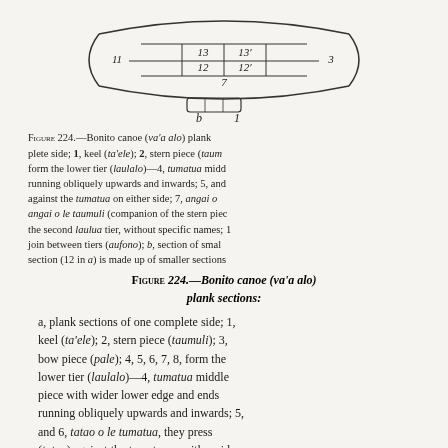[Figure (engineering-diagram): Diagram of bonito canoe plank sections showing numbered parts 11, 13, 13', 12, 12', 3, 7 in upper portion, and section b with label 1 below.]
Figure 224.—Bonito canoe (va'a alo) plank sections: a, plank sections of one complete side; 1, keel (ta'ele); 2, stern piece (taumuli); 3, bow piece (pale); 4, 5, 6, 7, 8, form the lower tier (laulalo)—4, tumatua middle piece with wider lower edge and ends running obliquely upwards and inwards; 5, and 6, tatao o le tumatua, they press against the tumatua on either side; 7, angai o le tumatua (companion of the tumatua); 8, angai o le taumuli (companion of the stern piece); 9, 10, 11, form the second laulua tier, without specific names; 12, 12', 13, 13', join between tiers (aufono); b, section of small plank showing how section (12 in a) is made up of smaller sections
Figure 224.—Bonito canoe (va'a alo) plank sections:
a, plank sections of one complete side; 1, keel (ta'ele); 2, stern piece (taumuli); 3, bow piece (pale); 4, 5, 6, 7, 8, form the lower tier (laulalo)—4, tumatua middle piece with wider lower edge and ends running obliquely upwards and inwards; 5, and 6, tatao o le tumatua, they press (tatao) against the tumatua on either side;